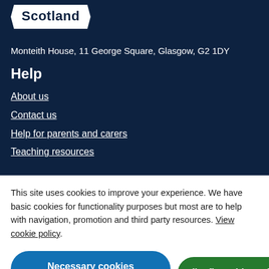[Figure (logo): Scotland logo in white badge with dark navy text]
Monteith House, 11 George Square, Glasgow, G2 1DY
Help
About us
Contact us
Help for parents and carers
Teaching resources
This site uses cookies to improve your experience. We have basic cookies for functionality purposes but most are to help with navigation, promotion and third party resources. View cookie policy.
[Figure (infographic): Two cookie consent buttons: 'Necessary cookies only' (blue) and 'I'm fine with cookies' (green), with a teal megaphone icon button in the bottom right]